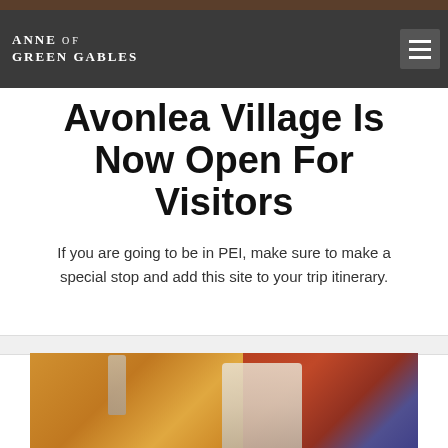Anne of Green Gables
Avonlea Village Is Now Open For Visitors
If you are going to be in PEI, make sure to make a special stop and add this site to your trip itinerary.
[Figure (illustration): A painting showing an interior scene with a man in a hat seated in a yellow chair at an easel, a nude statue on a cabinet, a vase of flowers, and a red-walled background room.]